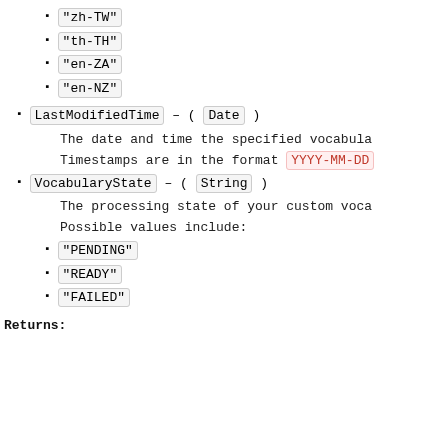"zh-TW"
"th-TH"
"en-ZA"
"en-NZ"
LastModifiedTime – ( Date )
The date and time the specified vocabula
Timestamps are in the format YYYY-MM-DD
VocabularyState – ( String )
The processing state of your custom voca
Possible values include:
"PENDING"
"READY"
"FAILED"
Returns: